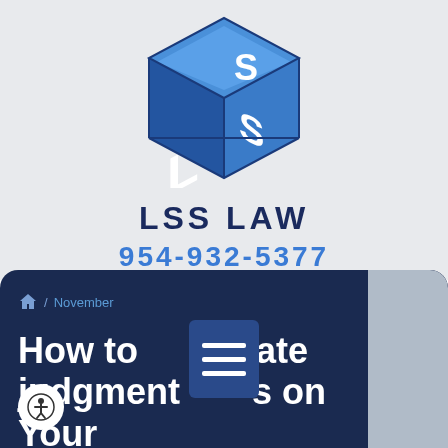[Figure (logo): LSS Law 3D cube logo with letters L and S in white on blue cube]
LSS LAW
954-932-5377
[Figure (screenshot): Website screenshot showing dark navy card with breadcrumb navigation (home / November), accessibility button, hamburger menu overlay, and partial article title 'How to Eliminate Judgment Liens on Your']
/ November
How to Eliminate Judgment Liens on Your